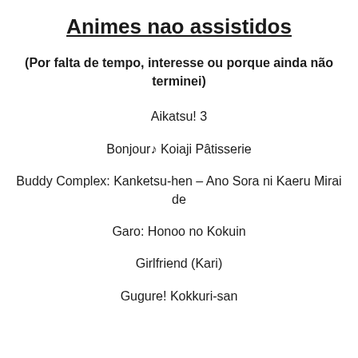Animes nao assistidos
(Por falta de tempo, interesse ou porque ainda não terminei)
Aikatsu! 3
Bonjour♪ Koiaji Pâtisserie
Buddy Complex: Kanketsu-hen – Ano Sora ni Kaeru Mirai de
Garo: Honoo no Kokuin
Girlfriend (Kari)
Gugure! Kokkuri-san